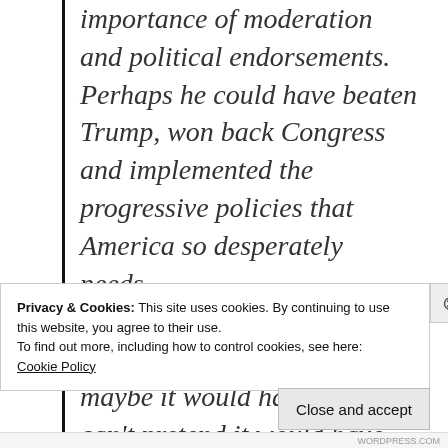importance of moderation and political endorsements. Perhaps he could have beaten Trump, won back Congress and implemented the progressive policies that America so desperately needs.

I wish this did happen and maybe it would have, but we can't pretend it would have been a guaranteed easy victory.
Privacy & Cookies: This site uses cookies. By continuing to use this website, you agree to their use.
To find out more, including how to control cookies, see here:
Cookie Policy
Close and accept